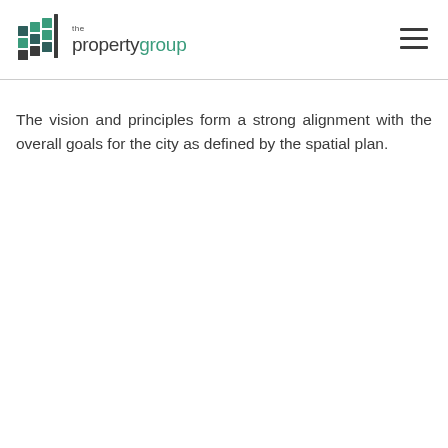the propertygroup
The vision and principles form a strong alignment with the overall goals for the city as defined by the spatial plan.